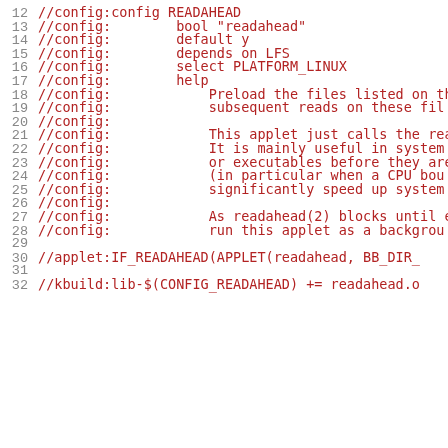12  //config:config READAHEAD
13  //config:        bool "readahead"
14  //config:        default y
15  //config:        depends on LFS
16  //config:        select PLATFORM_LINUX
17  //config:        help
18  //config:            Preload the files listed on th
19  //config:            subsequent reads on these fil
20  //config:
21  //config:            This applet just calls the rea
22  //config:            It is mainly useful in system
23  //config:            or executables before they are
24  //config:            (in particular when a CPU bou
25  //config:            significantly speed up system
26  //config:
27  //config:            As readahead(2) blocks until e
28  //config:            run this applet as a backgrou
29
30  //applet:IF_READAHEAD(APPLET(readahead, BB_DIR_
31
32  //kbuild:lib-$(CONFIG_READAHEAD) += readahead.o